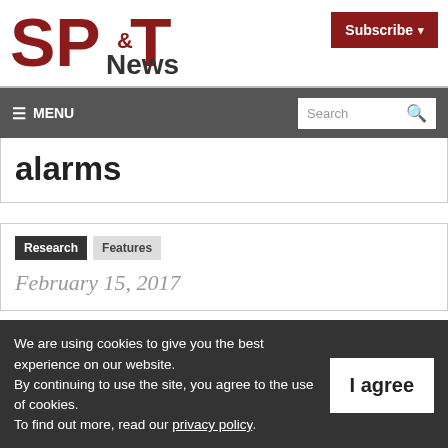[Figure (logo): SP&T News logo in dark red/maroon with bold serif letters]
Subscribe ▾
≡ MENU   Search 🔍
alarms
Research  Features
February 15, 2017
We are using cookies to give you the best experience on our website. By continuing to use the site, you agree to the use of cookies. To find out more, read our privacy policy.
I agree